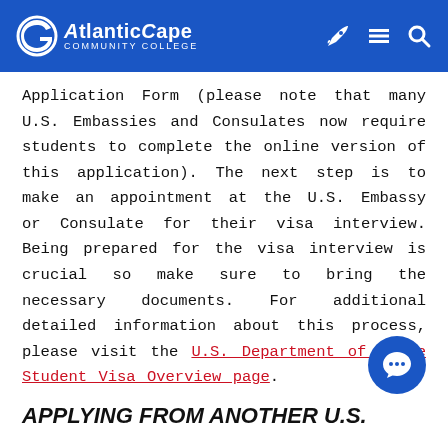Atlantic Cape Community College
Application Form (please note that many U.S. Embassies and Consulates now require students to complete the online version of this application). The next step is to make an appointment at the U.S. Embassy or Consulate for their visa interview. Being prepared for the visa interview is crucial so make sure to bring the necessary documents. For additional detailed information about this process, please visit the U.S. Department of State Student Visa Overview page.
APPLYING FROM ANOTHER U.S.